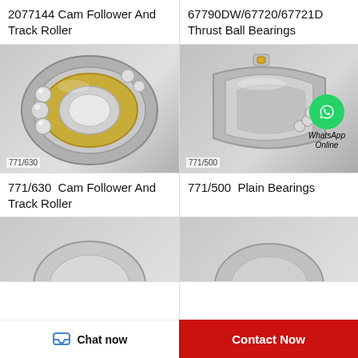2077144 Cam Follower And Track Roller
67790DW/67720/67721D Thrust Ball Bearings
[Figure (photo): Cam follower and track roller bearing (771/630), silver and gold metallic, showing internal ball bearings. Label: 771/630]
[Figure (photo): Plain bearing (771/500), silver metallic ring shape showing internal balls with WhatsApp Online overlay. Label: 771/500]
771/630  Cam Follower And Track Roller
771/500  Plain Bearings
[Figure (photo): Partial view of a bearing product (bottom, partially cropped)]
[Figure (photo): Partial view of a bearing product (bottom right, partially cropped)]
Chat now
Contact Now